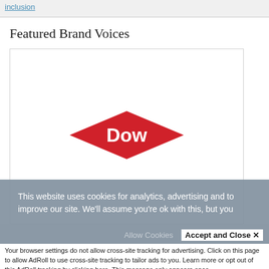inclusion
Featured Brand Voices
[Figure (logo): Dow logo — red diamond shape with white 'Dow' text and registered trademark symbol]
This website uses cookies for analytics, advertising and to improve our site. We'll assume you're ok with this, but you
Allow Cookies   Accept and Close ✕
Your browser settings do not allow cross-site tracking for advertising. Click on this page to allow AdRoll to use cross-site tracking to tailor ads to you. Learn more or opt out of this AdRoll tracking by clicking here. This message only appears once.